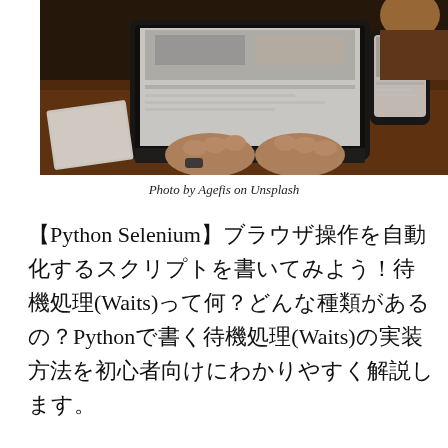[Figure (photo): Overhead view of a person typing on a laptop showing a website, with a smartphone and notebook beside them on a wooden desk.]
Photo by Agefis on Unsplash
【Python Selenium】ブラウザ操作を自動化するスクリプトを書いてみよう！待機処理(Waits)って何？どんな種類があるの？Pythonで書く待機処理(Waits)の実装方法を初心者向けにわかりやすく解説します。